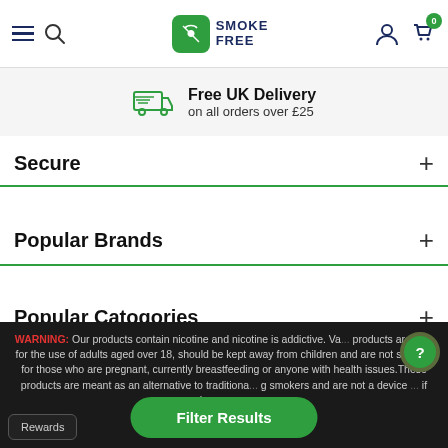Smoke Free — navigation header with hamburger menu, search, logo, user icon, cart (0)
Free UK Delivery on all orders over £25
Secure
Popular Brands
Popular Catogories
WARNING: Our products contain nicotine and nicotine is addictive. Vaping products are only for the use of adults aged over 18, should be kept away from children and are not suitable for those who are pregnant, currently breastfeeding or anyone with health issues. These products are meant as an alternative to traditional smoking smokers and are not a device if you have concerns
Rewards
Filter Results